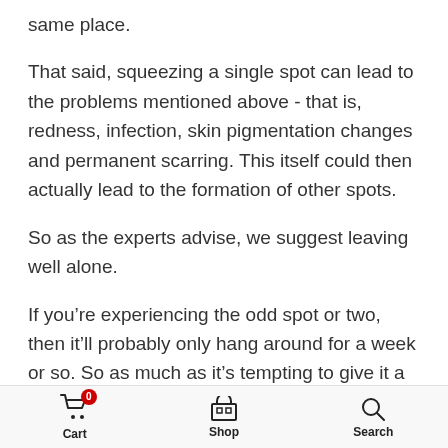same place.
That said, squeezing a single spot can lead to the problems mentioned above - that is, redness, infection, skin pigmentation changes and permanent scarring. This itself could then actually lead to the formation of other spots.
So as the experts advise, we suggest leaving well alone.
If you’re experiencing the odd spot or two, then it’ll probably only hang around for a week or so. So as much as it’s tempting to give it a squeeze, leave it
Cart  Shop  Search